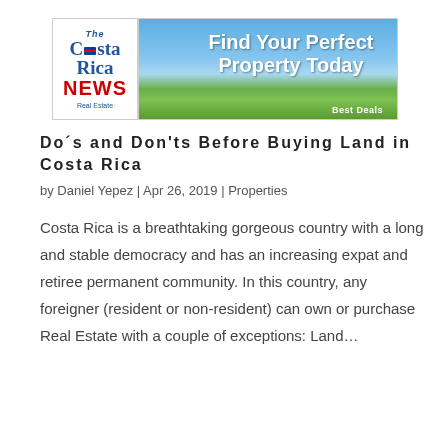[Figure (illustration): The Costa Rica NEWS Real Estate banner ad with logo on left, beach/sky background on right, tagline 'Find Your Perfect Property Today' and 'Best Deals' at bottom]
Do´s and Don'ts Before Buying Land in Costa Rica
by Daniel Yepez | Apr 26, 2019 | Properties
Costa Rica is a breathtaking gorgeous country with a long and stable democracy and has an increasing expat and retiree permanent community. In this country, any foreigner (resident or non-resident) can own or purchase Real Estate with a couple of exceptions: Land...